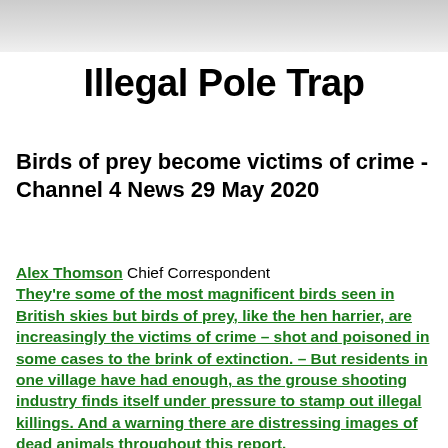[Figure (photo): Partial photo at top of page, cropped, showing a light-colored background with partial image content.]
Illegal Pole Trap
Birds of prey become victims of crime -Channel 4 News 29 May 2020
Alex Thomson Chief Correspondent They're some of the most magnificent birds seen in British skies but birds of prey, like the hen harrier, are increasingly the victims of crime – shot and poisoned in some cases to the brink of extinction. – But residents in one village have had enough, as the grouse shooting industry finds itself under pressure to stamp out illegal killings. And a warning there are distressing images of dead animals throughout this report.